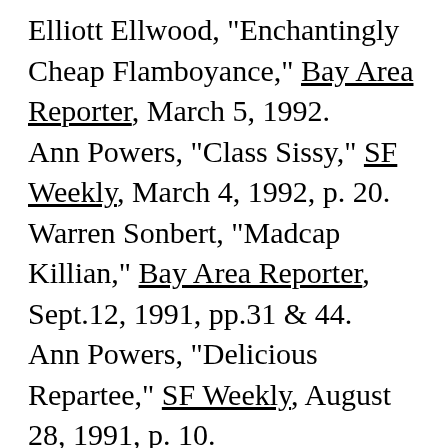Elliott Ellwood, "Enchantingly Cheap Flamboyance," Bay Area Reporter, March 5, 1992.
Ann Powers, "Class Sissy," SF Weekly, March 4, 1992, p. 20.
Warren Sonbert, "Madcap Killian," Bay Area Reporter, Sept.12, 1991, pp.31 & 44.
Ann Powers, "Delicious Repartee," SF Weekly, August 28, 1991, p. 10.
Liz Kotz, "Theory and the Local Gal," SF Weekly, October 31, 1990.
Mark Van Proyen, "An Irreverent